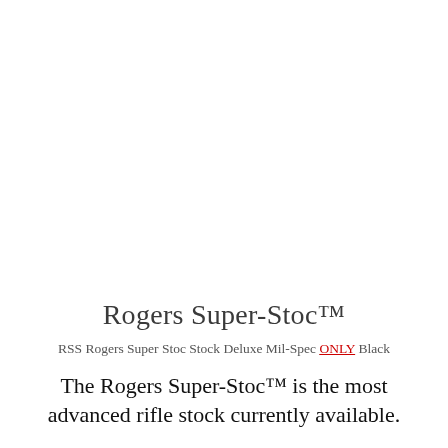Rogers Super-Stoc™
RSS Rogers Super Stoc Stock Deluxe Mil-Spec ONLY Black
The Rogers Super-Stoc™ is the most advanced rifle stock currently available.